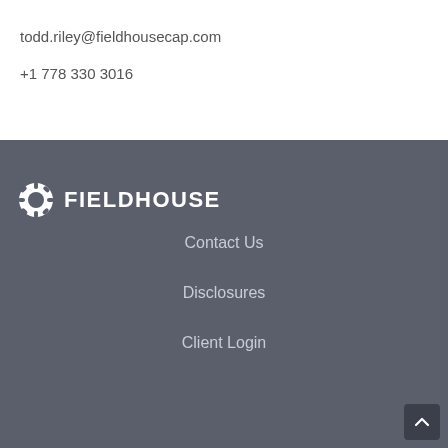todd.riley@fieldhousecap.com
+1 778 330 3016
[Figure (logo): Fieldhouse Capital logo: circular gear-like icon followed by FIELDHOUSE text in white on dark grey background]
Contact Us
Disclosures
Client Login